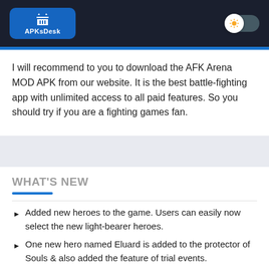APKsDesk
I will recommend to you to download the AFK Arena MOD APK from our website. It is the best battle-fighting app with unlimited access to all paid features. So you should try if you are a fighting games fan.
WHAT'S NEW
Added new heroes to the game. Users can easily now select the new light-bearer heroes.
One new hero named Eluard is added to the protector of Souls & also added the feature of trial events.
Released new additions and optimizations.